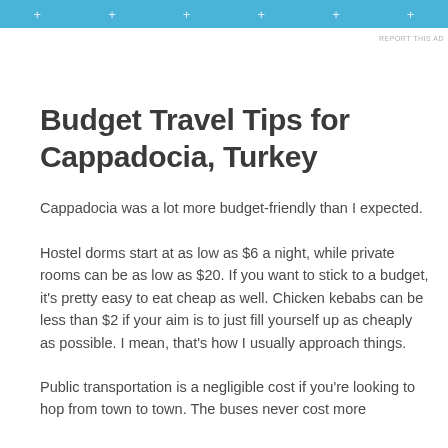[Figure (other): Light blue advertisement banner with white plus signs and 'REPORT THIS AD' text in small gray letters below right corner]
Budget Travel Tips for Cappadocia, Turkey
Cappadocia was a lot more budget-friendly than I expected.
Hostel dorms start at as low as $6 a night, while private rooms can be as low as $20. If you want to stick to a budget, it's pretty easy to eat cheap as well. Chicken kebabs can be less than $2 if your aim is to just fill yourself up as cheaply as possible. I mean, that's how I usually approach things.
Public transportation is a negligible cost if you're looking to hop from town to town. The buses never cost more